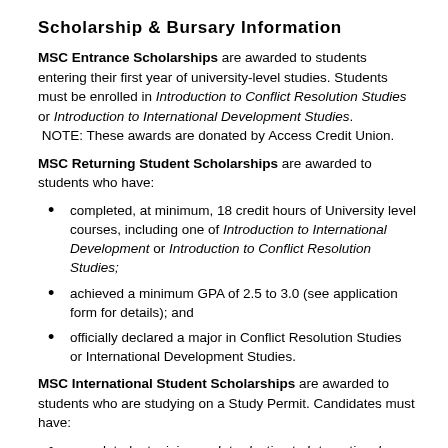Scholarship & Bursary Information
MSC Entrance Scholarships are awarded to students entering their first year of university-level studies. Students must be enrolled in Introduction to Conflict Resolution Studies or Introduction to International Development Studies.
 NOTE: These awards are donated by Access Credit Union.
MSC Returning Student Scholarships are awarded to students who have:
completed, at minimum, 18 credit hours of University level courses, including one of Introduction to International Development or Introduction to Conflict Resolution Studies;
achieved a minimum GPA of 2.5 to 3.0 (see application form for details); and
officially declared a major in Conflict Resolution Studies or International Development Studies.
MSC International Student Scholarships are awarded to students who are studying on a Study Permit. Candidates must have:
completed, at minimum, Introduction to International